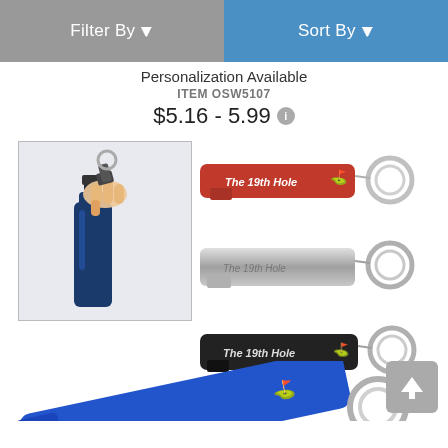Filter By   Sort By
Personalization Available
ITEM OSW5107
$5.16 - 5.99
[Figure (photo): Product photos showing keychain bottle openers branded 'The 19th Hole' in red, silver, and black colors with key rings, plus a hand using a bottle opener on a blue bottle, and a large blue bottle opener in foreground.]